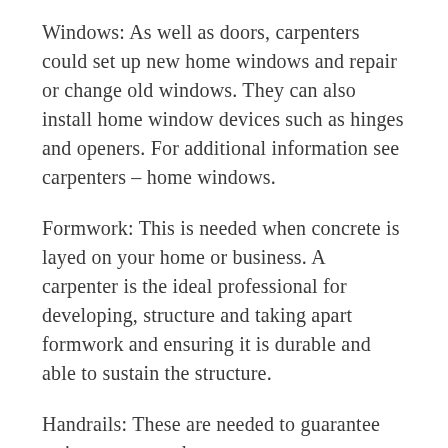Windows: As well as doors, carpenters could set up new home windows and repair or change old windows. They can also install home window devices such as hinges and openers. For additional information see carpenters – home windows.
Formwork: This is needed when concrete is layed on your home or business. A carpenter is the ideal professional for developing, structure and taking apart formwork and ensuring it is durable and able to sustain the structure.
Handrails: These are needed to guarantee staircases, verandas,